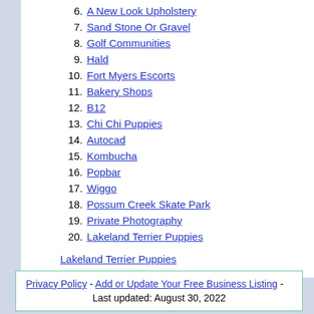6. A New Look Upholstery
7. Sand Stone Or Gravel
8. Golf Communities
9. Hald
10. Fort Myers Escorts
11. Bakery Shops
12. B12
13. Chi Chi Puppies
14. Autocad
15. Kombucha
16. Popbar
17. Wiggo
18. Possum Creek Skate Park
19. Private Photography
20. Lakeland Terrier Puppies
Lakeland Terrier Puppies
Privacy Policy - Add or Update Your Free Business Listing - Last updated: August 30, 2022